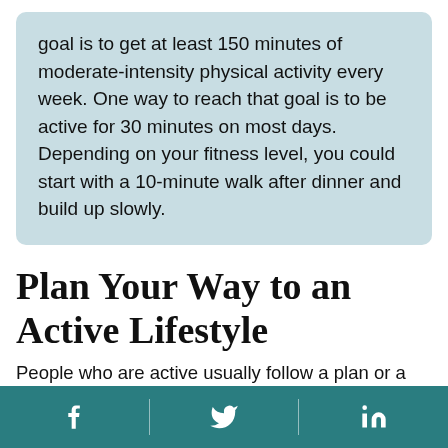goal is to get at least 150 minutes of moderate-intensity physical activity every week. One way to reach that goal is to be active for 30 minutes on most days. Depending on your fitness level, you could start with a 10-minute walk after dinner and build up slowly.
Plan Your Way to an Active Lifestyle
People who are active usually follow a plan or a routine to keep them on track. Here are a few ideas to help you get started:
Be specific. Pick an activity that...
Social media icons: Facebook, Twitter, LinkedIn